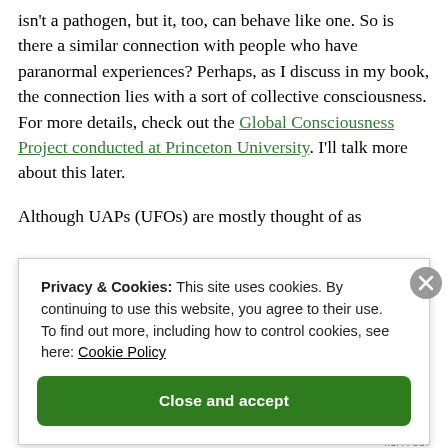isn't a pathogen, but it, too, can behave like one. So is there a similar connection with people who have paranormal experiences? Perhaps, as I discuss in my book, the connection lies with a sort of collective consciousness. For more details, check out the Global Consciousness Project conducted at Princeton University. I'll talk more about this later.

Although UAPs (UFOs) are mostly thought of as
Privacy & Cookies: This site uses cookies. By continuing to use this website, you agree to their use.
To find out more, including how to control cookies, see here: Cookie Policy

[Close and accept]